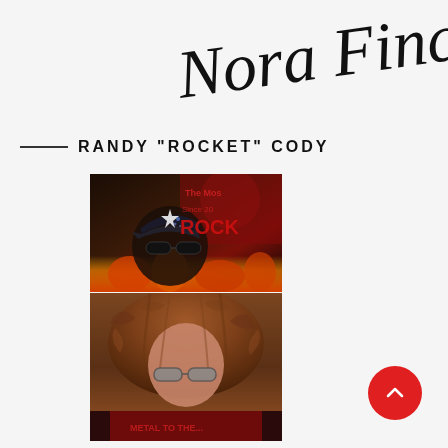[Figure (illustration): Handwritten cursive signature reading 'Nora Finch' in black ink on light gray background, positioned top right]
RANDY "ROCKET" CODY
[Figure (photo): Person wearing dark sunglasses and a black cap with a star, in front of a red and dark background with text 'The Most... Since 20... ROCK' in red letters, with orange fire at bottom]
[Figure (photo): Person with long curly reddish-brown hair and sunglasses, wearing a red and black graphic t-shirt, close-up portrait shot]